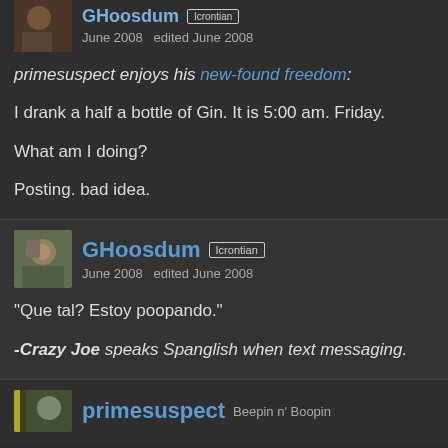June 2008   edited June 2008
primesuspect enjoys his new-found freedom:
I drank a half a bottle of Gin. It is 5:00 am. Friday.

What am I doing?

Posting. bad idea.
GHoosdum  Icrontian
June 2008   edited June 2008
"Que tal? Estoy poopando."
-Crazy Joe speaks Spanglish when text messaging.
primesuspect  Beepin n' Boopin